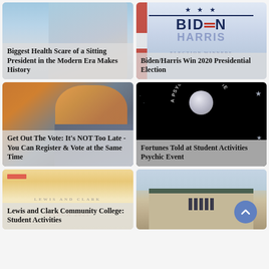[Figure (photo): Person with raised fist against blue sky background - health scare article image]
Biggest Health Scare of a Sitting President in the Modern Era Makes History
[Figure (photo): Biden/Harris 2020 campaign logo with stars and American flag]
Biden/Harris Win 2020 Presidential Election
[Figure (photo): Trump portrait with blue and orange tones - Get Out The Vote article]
Get Out The Vote: It's NOT Too Late - You Can Register & Vote at the Same Time
[Figure (photo): Black background with 'A Psychic Event Review' text and moon/crystal ball image]
Fortunes Told at Student Activities Psychic Event
[Figure (photo): Lewis and Clark Community College branded image with orange/gold tones and watermark text]
Lewis and Clark Community College: Student Activities
[Figure (photo): Exterior photo of a brick institutional building with green roof elements]